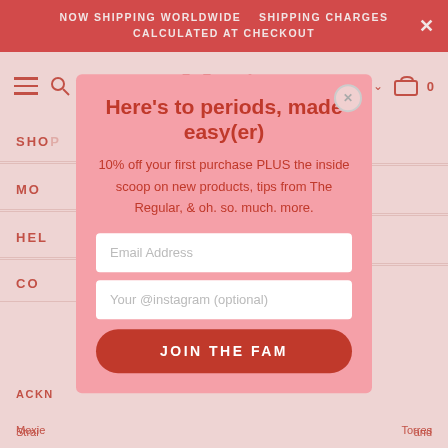NOW SHIPPING WORLDWIDE   SHIPPING CHARGES CALCULATED AT CHECKOUT
[Figure (screenshot): Moxie brand navigation bar with hamburger menu, search icon, logo, AUD currency selector, and cart icon]
SHOP
MO
HEL
CO
Here's to periods, made easy(er)
10% off your first purchase PLUS the inside scoop on new products, tips from The Regular, & oh. so. much. more.
Email Address
Your @instagram (optional)
JOIN THE FAM
ACKN
Moxie
Torres Strai